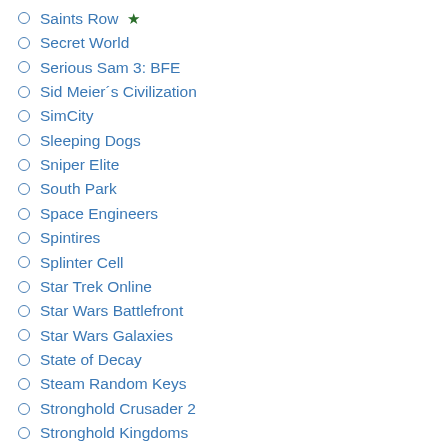Saints Row ★
Secret World
Serious Sam 3: BFE
Sid Meier´s Civilization
SimCity
Sleeping Dogs
Sniper Elite
South Park
Space Engineers
Spintires
Splinter Cell
Star Trek Online
Star Wars Battlefront
Star Wars Galaxies
State of Decay
Steam Random Keys
Stronghold Crusader 2
Stronghold Kingdoms
Team Fortress 2
Terraria ★
The Binding of Isaac: Rebirth
The Crew
The Division
The Evil Within
The Forest